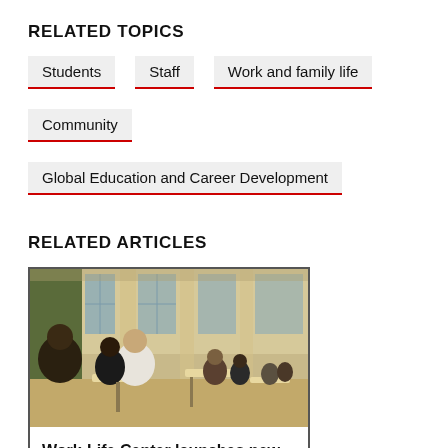RELATED TOPICS
Students
Staff
Work and family life
Community
Global Education and Career Development
RELATED ARTICLES
[Figure (photo): People networking at tables inside a large hall with tall windows and columns]
Work-Life Center launches new seminar series for MIT young